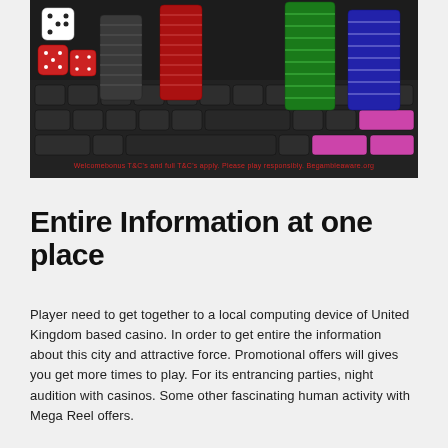[Figure (photo): Casino chips (black, red, green, blue/purple stacks) and red dice on a laptop keyboard, with a disclaimer text overlay at the bottom of the image in red.]
Welcomebonus T&C's and full T&C's apply. Please play responsibly. Begambleaware.org
Entire Information at one place
Player need to get together to a local computing device of United Kingdom based casino. In order to get entire the information about this city and attractive force. Promotional offers will gives you get more times to play. For its entrancing parties, night audition with casinos. Some other fascinating human activity with Mega Reel offers.